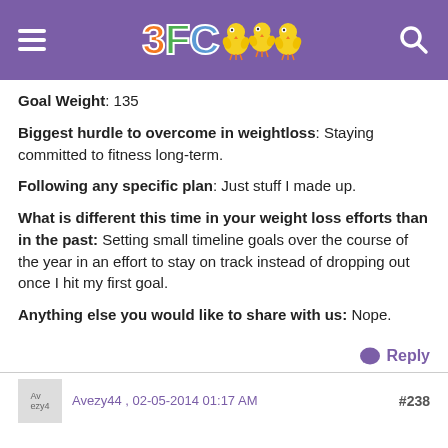3FC [logo with chicks]
Goal Weight: 135
Biggest hurdle to overcome in weightloss: Staying committed to fitness long-term.
Following any specific plan: Just stuff I made up.
What is different this time in your weight loss efforts than in the past: Setting small timeline goals over the course of the year in an effort to stay on track instead of dropping out once I hit my first goal.
Anything else you would like to share with us: Nope.
Reply
Avezy44 , 02-05-2014 01:17 AM  #238